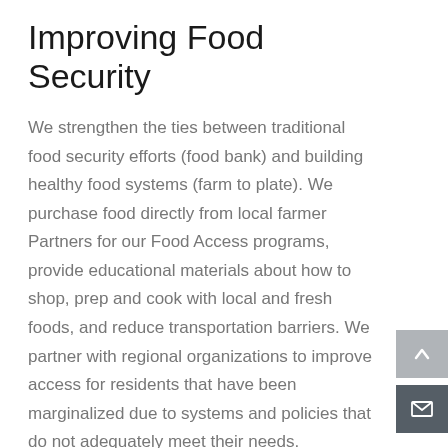Improving Food Security
We strengthen the ties between traditional food security efforts (food bank) and building healthy food systems (farm to plate). We purchase food directly from local farmer Partners for our Food Access programs, provide educational materials about how to shop, prep and cook with local and fresh foods, and reduce transportation barriers. We partner with regional organizations to improve access for residents that have been marginalized due to systems and policies that do not adequately meet their needs.
Purchased $85,623 worth of food from local farmers for our VeggieRx program.
Provided 540 food insecure residents with food and